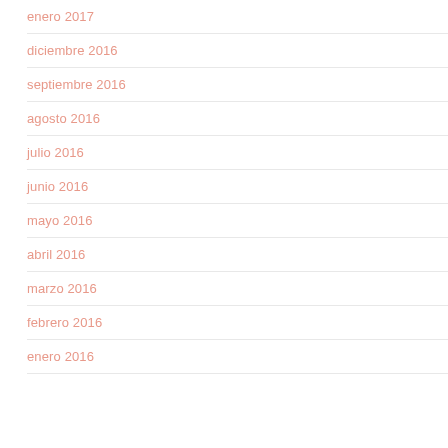enero 2017
diciembre 2016
septiembre 2016
agosto 2016
julio 2016
junio 2016
mayo 2016
abril 2016
marzo 2016
febrero 2016
enero 2016